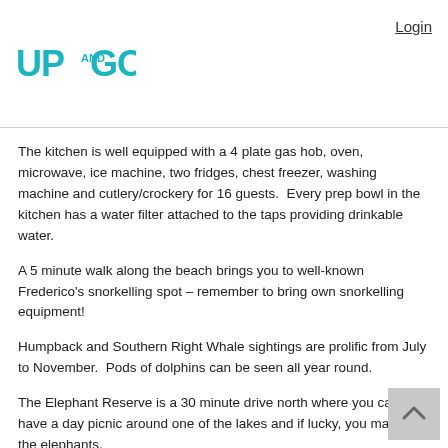UP AND GO — Login
The kitchen is well equipped with a 4 plate gas hob, oven, microwave, ice machine, two fridges, chest freezer, washing machine and cutlery/crockery for 16 guests.  Every prep bowl in the kitchen has a water filter attached to the taps providing drinkable water.
A 5 minute walk along the beach brings you to well-known Frederico's snorkelling spot – remember to bring own snorkelling equipment!
Humpback and Southern Right Whale sightings are prolific from July to November.  Pods of dolphins can be seen all year round.
The Elephant Reserve is a 30 minute drive north where you can have a day picnic around one of the lakes and if lucky, you may spot the elephants.
RATES AT ALOHA 18 IN PONTA MAMOLI
Rates are a guide price and will be confirmed when making your